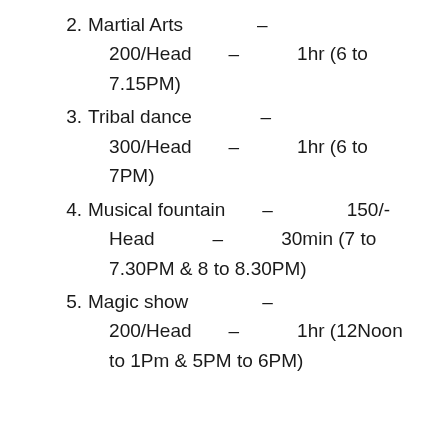2. Martial Arts – 200/Head – 1hr (6 to 7.15PM)
3. Tribal dance – 300/Head – 1hr (6 to 7PM)
4. Musical fountain – 150/- Head – 30min (7 to 7.30PM & 8 to 8.30PM)
5. Magic show – 200/Head – 1hr (12Noon to 1Pm & 5PM to 6PM)